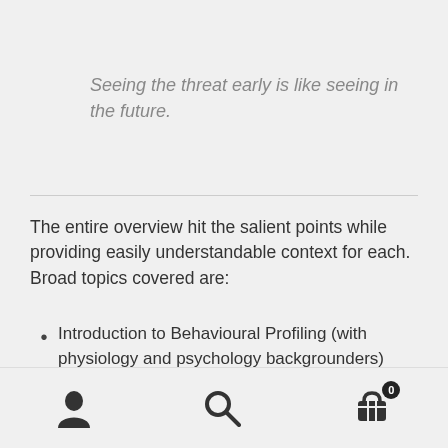Seeing the threat early is like seeing in the future.
The entire overview hit the salient points while providing easily understandable context for each. Broad topics covered are:
Introduction to Behavioural Profiling (with physiology and psychology backgrounders)
File Folders and Denial (as well as anomalies and perception)
(partially visible)
user icon | search icon | cart icon with badge 0